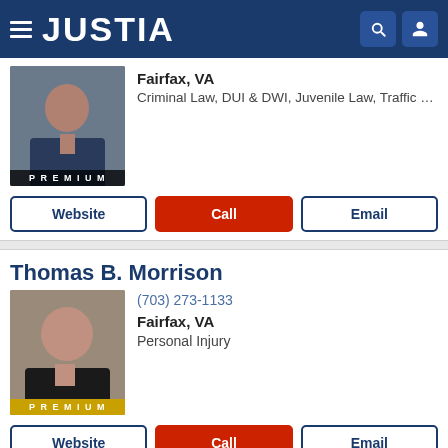JUSTIA
Fairfax, VA
Criminal Law, DUI & DWI, Juvenile Law, Traffic …
Website | Call | Email
Thomas B. Morrison
(703) 273-1133
Fairfax, VA
Personal Injury
Website | Call | Email
Broderick C. Dunn